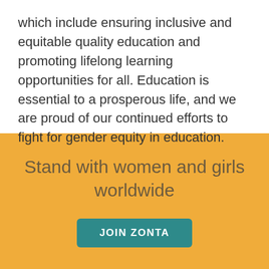which include ensuring inclusive and equitable quality education and promoting lifelong learning opportunities for all. Education is essential to a prosperous life, and we are proud of our continued efforts to fight for gender equity in education.
Stand with women and girls worldwide
JOIN ZONTA